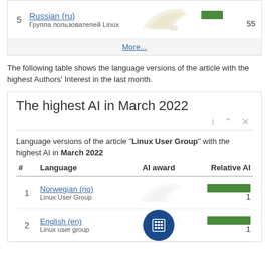| # | Language | AI award | Relative AI |
| --- | --- | --- | --- |
| 5 | Russian (ru)
Группа пользователей Linux | 50 | 55 |
The following table shows the language versions of the article with the highest Authors' Interest in the last month.
The highest AI in March 2022
Language versions of the article "Linux User Group" with the highest AI in March 2022
| # | Language | AI award | Relative AI |
| --- | --- | --- | --- |
| 1 | Norwegian (no)
Linux User Group | 1 | 1 |
| 2 | English (en)
Linux user group | 1 | 1 |